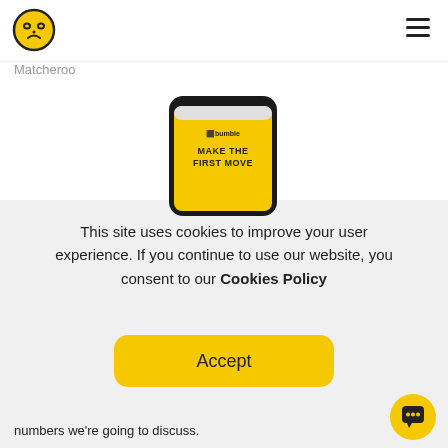[Figure (logo): Bumble app logo: yellow circle with a cartoon face (eyes and frown) in black]
[Figure (illustration): Hamburger menu icon (three horizontal lines) in top right corner]
Matcheroo
[Figure (screenshot): Smartphone showing Bumble app screen with yellow background and text 'MAKE THE FIRST MOVE']
This site uses cookies to improve your user experience. If you continue to use our website, you consent to our Cookies Policy
[Figure (other): Yellow rounded rectangle Accept button]
[Figure (other): Yellow circular chat bubble button in bottom right corner]
numbers we're going to discuss.